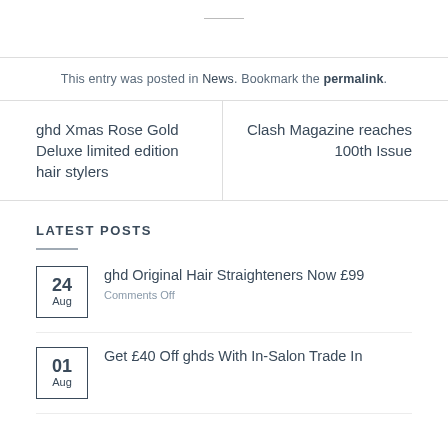This entry was posted in News. Bookmark the permalink.
ghd Xmas Rose Gold Deluxe limited edition hair stylers
Clash Magazine reaches 100th Issue
LATEST POSTS
24 Aug — ghd Original Hair Straighteners Now £99 — Comments Off
01 Aug — Get £40 Off ghds With In-Salon Trade In